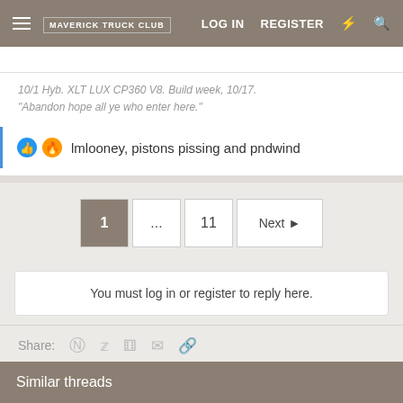Maverick Truck Club — LOG IN  REGISTER
10/1 Hyb. XLT LUX CP360 V8. Build week, 10/17.
"Abandon hope all ye who enter here."
lmlooney, pistons pissing and pndwind
1 ... 11 Next
You must log in or register to reply here.
Share:
Similar threads